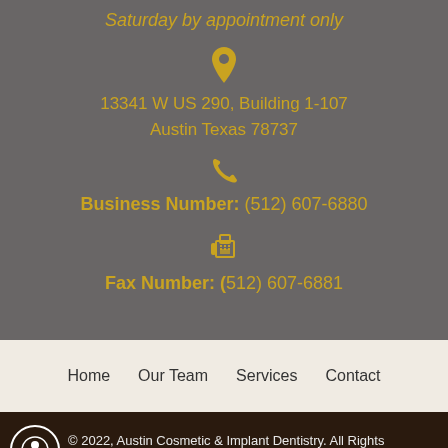Saturday by appointment only
13341 W US 290, Building 1-107
Austin Texas 78737
Business Number: (512) 607-6880
Fax Number: (512) 607-6881
Home  Our Team  Services  Contact
© 2022, Austin Cosmetic & Implant Dentistry. All Rights Reserved. ADA. Sitemap